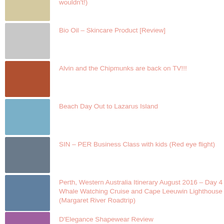wouldn't!)
Bio Oil – Skincare Product [Review]
Alvin and the Chipmunks are back on TV!!!
Beach Day Out to Lazarus Island
SIN – PER Business Class with kids (Red eye flight)
Perth, Western Australia Itinerary August 2016 – Day 4 Whale Watching Cruise and Cape Leeuwin Lighthouse (Margaret River Roadtrip)
D'Elegance Shapewear Review
Perth, Western Australia Itinerary August 2016 – Day 5 Ngilgi Caves, Canal Rocks and Laurence Wines (Margaret River Roadtrip)